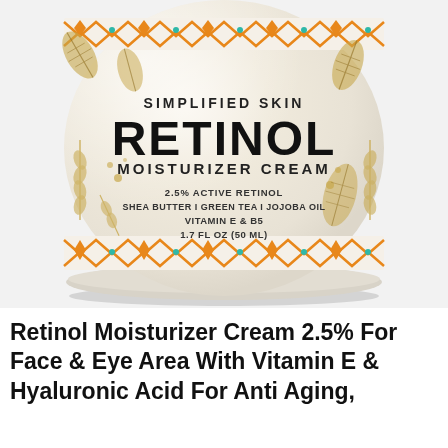[Figure (photo): Product photo of Simplified Skin Retinol Moisturizer Cream jar. The jar is white/cream colored with a decorative orange and teal beaded border band at top and bottom. Gold leaf and botanical illustrations decorate the label. Label text reads: SIMPLIFIED SKIN, RETINOL, MOISTURIZER CREAM, 2.5% ACTIVE RETINOL, SHEA BUTTER | GREEN TEA | JOJOBA OIL, VITAMIN E & B5, 1.7 FL OZ (50 ML).]
Retinol Moisturizer Cream 2.5% For Face & Eye Area With Vitamin E & Hyaluronic Acid For Anti Aging,